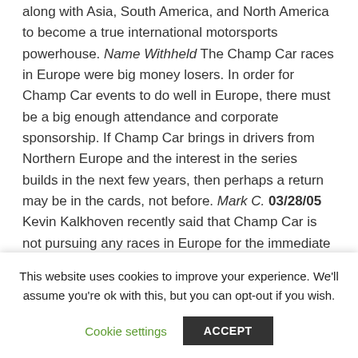along with Asia, South America, and North America to become a true international motorsports powerhouse. Name Withheld The Champ Car races in Europe were big money losers. In order for Champ Car events to do well in Europe, there must be a big enough attendance and corporate sponsorship. If Champ Car brings in drivers from Northern Europe and the interest in the series builds in the next few years, then perhaps a return may be in the cards, not before. Mark C. 03/28/05 Kevin Kalkhoven recently said that Champ Car is not pursuing any races in Europe for the immediate future. However, it is curious that three drivers from the northern reaches of Europe – Jos Verstappen (Netherlands), Bjorn Wirdheim (Sweden)...
This website uses cookies to improve your experience. We'll assume you're ok with this, but you can opt-out if you wish.
Cookie settings   ACCEPT